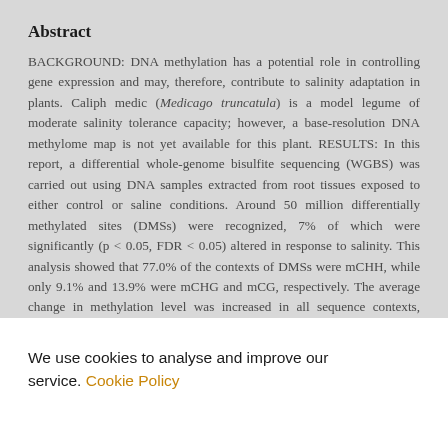Abstract
BACKGROUND: DNA methylation has a potential role in controlling gene expression and may, therefore, contribute to salinity adaptation in plants. Caliph medic (Medicago truncatula) is a model legume of moderate salinity tolerance capacity; however, a base-resolution DNA methylome map is not yet available for this plant. RESULTS: In this report, a differential whole-genome bisulfite sequencing (WGBS) was carried out using DNA samples extracted from root tissues exposed to either control or saline conditions. Around 50 million differentially methylated sites (DMSs) were recognized, 7% of which were significantly (p < 0.05, FDR < 0.05) altered in response to salinity. This analysis showed that 77.0% of the contexts of DMSs were mCHH, while only 9.1% and 13.9% were mCHG and mCG, respectively. The average change in methylation level was increased in all sequence contexts, ranging
We use cookies to analyse and improve our service. Cookie Policy